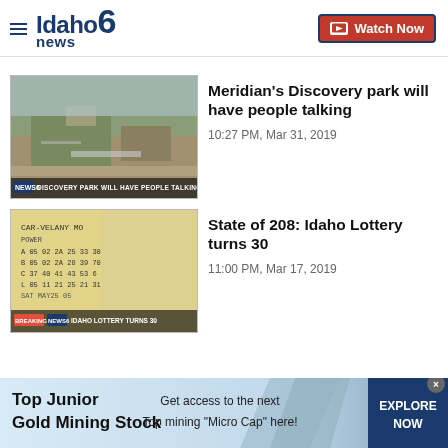Idaho News 6 — Watch Now
[Figure (screenshot): Aerial view of Meridian Discovery Park construction site with overlay text: DISCOVERY PARK WILL HAVE PEOPLE TALKING]
Meridian's Discovery park will have people talking
10:27 PM, Mar 31, 2019
[Figure (photo): Idaho Lottery ticket showing numbers, with overlay text: IDAHO LOTTERY TURNS 30]
State of 208: Idaho Lottery turns 30
11:00 PM, Mar 17, 2019
[Figure (infographic): Advertisement banner: Top Junior Gold Mining Stock — Get access to the next Top mining Micro Cap here! — EXPLORE NOW]